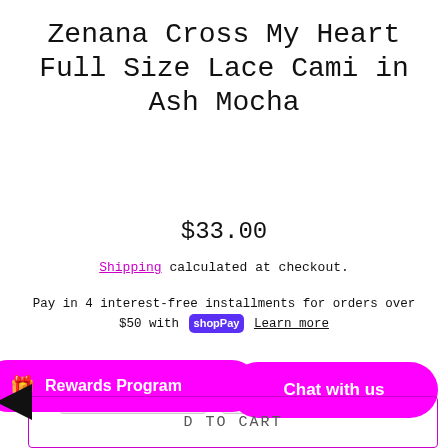Zenana Cross My Heart Full Size Lace Cami in Ash Mocha
$33.00
Shipping calculated at checkout.
Pay in 4 interest-free installments for orders over $50 with shopPay Learn more
Color  Ash Mocha ▾   Size  S ▾
🎁 Rewards Program
Chat with us
ADD TO CART